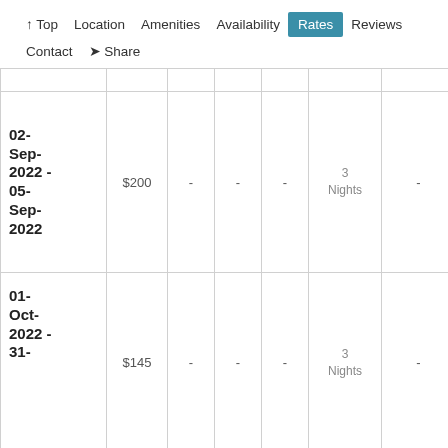↑ Top  Location  Amenities  Availability  Rates  Reviews  Contact  ➤ Share
| Date | Rate |  |  |  | Min Stay |  |
| --- | --- | --- | --- | --- | --- | --- |
| 02-Sep-2022 - 05-Sep-2022 | $200 | - | - | - | 3 Nights | - |
| 01-Oct-2022 - 31-2022 | $145 | - | - | - | 3 Nights | - |
EMAIL THE OWNER